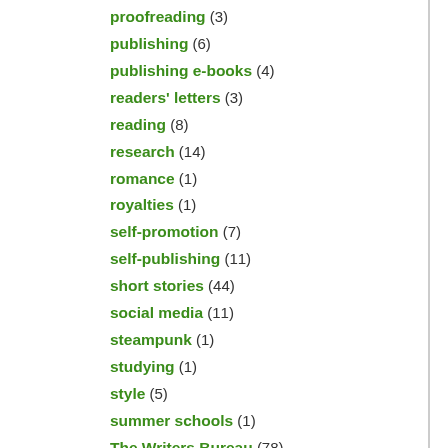proofreading (3)
publishing (6)
publishing e-books (4)
readers' letters (3)
reading (8)
research (14)
romance (1)
royalties (1)
self-promotion (7)
self-publishing (11)
short stories (44)
social media (11)
steampunk (1)
studying (1)
style (5)
summer schools (1)
The Writers Bureau (78)
theatre (1)
thrillers (1)
tips for would-be writers (11)